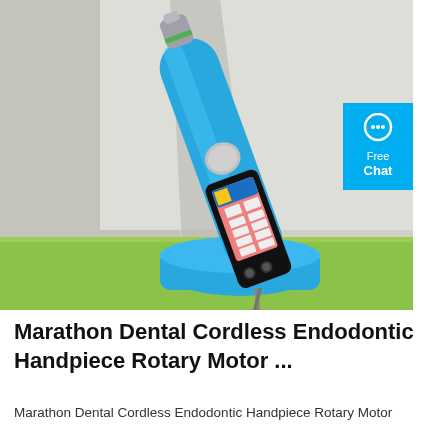[Figure (photo): A blue Marathon dental cordless endodontic handpiece rotary motor sitting in a blue charging base on a green surface. The handpiece has a black panel with a pink LCD display showing controls, and a metal tip at the top with a green ring. A chat button overlay appears on the right side.]
Marathon Dental Cordless Endodontic Handpiece Rotary Motor ...
Marathon Dental Cordless Endodontic Handpiece Rotary Motor